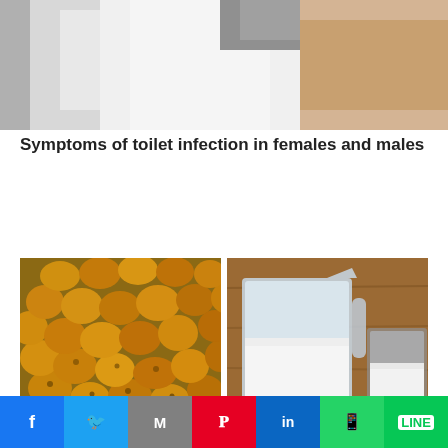[Figure (photo): Cropped photo showing part of a person's body near a toilet or medical setting, top portion of article image]
Symptoms of toilet infection in females and males
[Figure (photo): Close-up photo of small golden/yellow roasted tigernuts or similar small tuber food items]
[Figure (photo): Photo of a plastic measuring cup and a glass both containing white liquid (milk) on a wooden surface]
Ti...
Facebook Twitter Gmail Pinterest LinkedIn WhatsApp LINE social share buttons